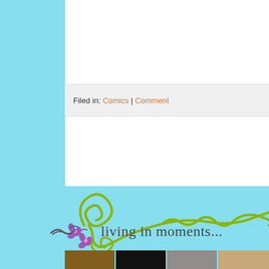[Figure (illustration): Partial view of a comic strip illustration showing an orange fox-like character with black markings, peeking over the edge of the panel. Light gray background.]
Filed in: Comics | Comment
[Figure (illustration): Decorative hand-drawn green vine/swirl border with purple flower accents at the bottom of the white card, extending onto the light blue background.]
living in moments...
[Figure (photo): Four photo thumbnails at the bottom: a horse, a dark scene, a gray/portrait scene, and a light portrait.]